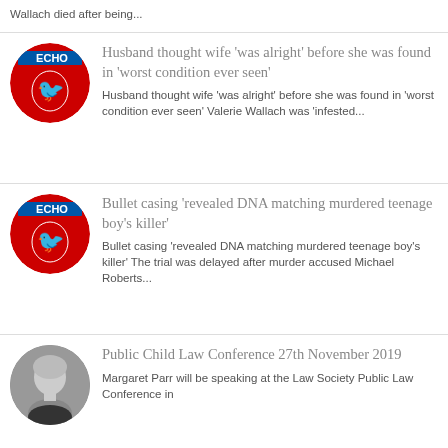Wallach died after being...
Husband thought wife 'was alright' before she was found in 'worst condition ever seen'
Husband thought wife 'was alright' before she was found in 'worst condition ever seen' Valerie Wallach was 'infested...
Bullet casing 'revealed DNA matching murdered teenage boy's killer'
Bullet casing 'revealed DNA matching murdered teenage boy's killer' The trial was delayed after murder accused Michael Roberts...
Public Child Law Conference 27th November 2019
Margaret Parr will be speaking at the Law Society Public Law Conference in